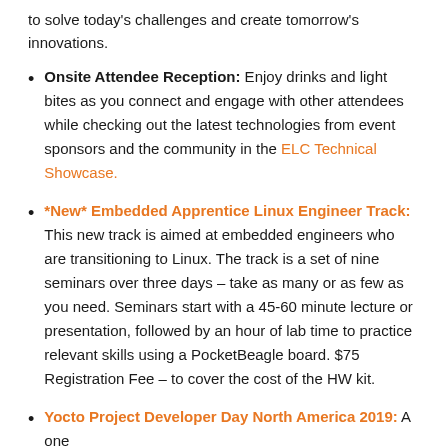to solve today's challenges and create tomorrow's innovations.
Onsite Attendee Reception: Enjoy drinks and light bites as you connect and engage with other attendees while checking out the latest technologies from event sponsors and the community in the ELC Technical Showcase.
*New* Embedded Apprentice Linux Engineer Track: This new track is aimed at embedded engineers who are transitioning to Linux. The track is a set of nine seminars over three days – take as many or as few as you need. Seminars start with a 45-60 minute lecture or presentation, followed by an hour of lab time to practice relevant skills using a PocketBeagle board. $75 Registration Fee – to cover the cost of the HW kit.
Yocto Project Developer Day North America 2019: A one...